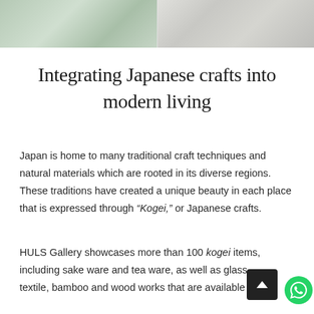[Figure (photo): Two side-by-side photos: left shows a Japanese interior scene with green plants, right shows a minimalist interior with furniture and shelving.]
Integrating Japanese crafts into modern living
Japan is home to many traditional craft techniques and natural materials which are rooted in its diverse regions. These traditions have created a unique beauty in each place that is expressed through “Kogei,” or Japanese crafts.
HULS Gallery showcases more than 100 kogei items, including sake ware and tea ware, as well as glass, textile, bamboo and wood works that are available for